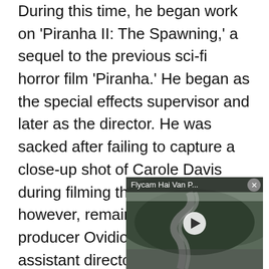During this time, he began work on 'Piranha II: The Spawning,' a sequel to the previous sci-fi horror film 'Piranha.' He began as the special effects supervisor and later as the director. He was sacked after failing to capture a close-up shot of Carole Davis during filming the film. He did, however, remain on to assist producer Ovidio Assonitis as an assistant director. 'The Terminator,' James[X]rst major production, was released in 19[...] Productions,' cont[...] colleague Gale An[...] Arnold Schwarzer[...] budget but grossed more than $78 million
[Figure (screenshot): Embedded video player overlay showing aerial/drone footage of a winding mountain road through forested hills, with title 'Flycam Hai Van P...' and a play button in the center.]